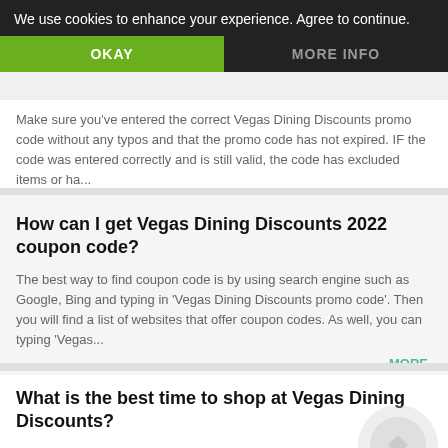We use cookies to enhance your experience. Agree to continue.
OKAY | MORE INFO
Why does my Vegas Dining Discounts promo code not
Make sure you've entered the correct Vegas Dining Discounts promo code without any typos and that the promo code has not expired. IF the code was entered correctly and is still valid, the code has excluded items or ha...
MORE
How can I get Vegas Dining Discounts 2022 coupon code?
The best way to find coupon code is by using search engine such as Google, Bing and typing in 'Vegas Dining Discounts promo code'. Then you will find a list of websites that offer coupon codes. As well, you can typing 'Vegas...
MORE
What is the best time to shop at Vegas Dining Discounts?
Usually, there will be more discounts in November at Vegas Dining...